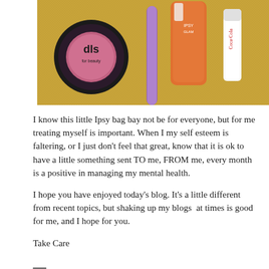[Figure (photo): Photo of beauty/makeup products laid on a textured golden-brown fabric background: a round black compact with 'dls' logo, a purple glitter stick, an orange cylindrical bottle, and a white tube with red script lettering.]
I know this little Ipsy bag bay not be for everyone, but for me treating myself is important. When I my self esteem is faltering, or I just don't feel that great, know that it is ok to have a little something sent TO me, FROM me, every month is a positive in managing my mental health.
I hope you have enjoyed today's blog. It's a little different from recent topics, but shaking up my blogs  at times is good for me, and I hope for you.
Take Care